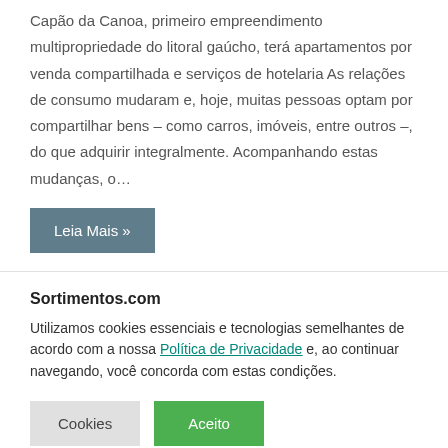Capão da Canoa, primeiro empreendimento multipropriedade do litoral gaúcho, terá apartamentos por venda compartilhada e serviços de hotelaria As relações de consumo mudaram e, hoje, muitas pessoas optam por compartilhar bens – como carros, imóveis, entre outros –, do que adquirir integralmente. Acompanhando estas mudanças, o…
Leia Mais »
Sortimentos.com
Utilizamos cookies essenciais e tecnologias semelhantes de acordo com a nossa Política de Privacidade e, ao continuar navegando, você concorda com estas condições.
Cookies
Aceito